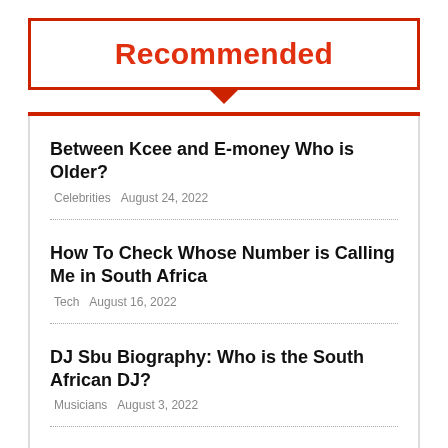Recommended
Between Kcee and E-money Who is Older? | Celebrities  August 24, 2022
How To Check Whose Number is Calling Me in South Africa | Tech  August 16, 2022
DJ Sbu Biography: Who is the South African DJ? | Musicians  August 3, 2022